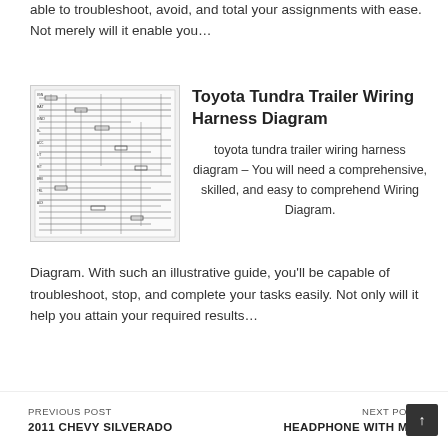able to troubleshoot, avoid, and total your assignments with ease. Not merely will it enable you…
Toyota Tundra Trailer Wiring Harness Diagram
[Figure (engineering-diagram): Wiring harness schematic diagram for Toyota Tundra trailer, showing dense circuit lines and component labels in black and white]
toyota tundra trailer wiring harness diagram – You will need a comprehensive, skilled, and easy to comprehend Wiring Diagram. With such an illustrative guide, you'll be capable of troubleshoot, stop, and complete your tasks easily. Not only will it help you attain your required results…
PREVIOUS POST 2011 CHEVY SILVERADO
NEXT POST HEADPHONE WITH MIC